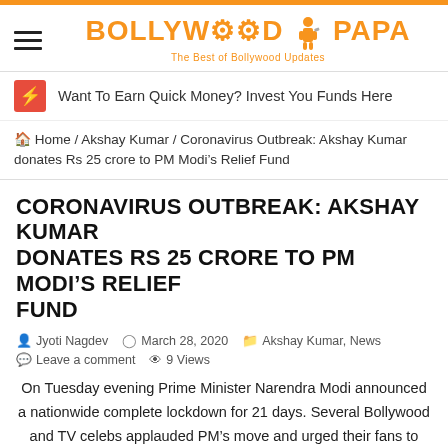BOLLYWOOD PAPA — The Best of Bollywood Updates
Want To Earn Quick Money? Invest You Funds Here
Home / Akshay Kumar / Coronavirus Outbreak: Akshay Kumar donates Rs 25 crore to PM Modi's Relief Fund
CORONAVIRUS OUTBREAK: AKSHAY KUMAR DONATES RS 25 CRORE TO PM MODI'S RELIEF FUND
Jyoti Nagdev   March 28, 2020   Akshay Kumar, News   Leave a comment   9 Views
On Tuesday evening Prime Minister Narendra Modi announced a nationwide complete lockdown for 21 days. Several Bollywood and TV celebs applauded PM's move and urged their fans to strictly follow the lockdown and practice social distancing.